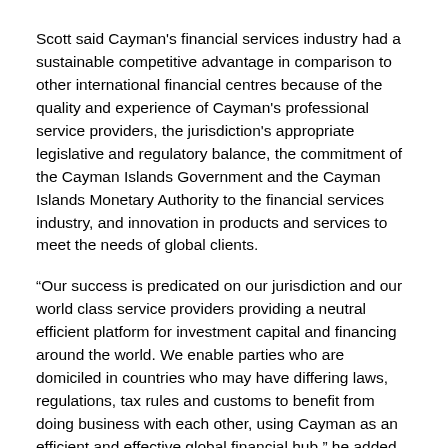Scott said Cayman's financial services industry had a sustainable competitive advantage in comparison to other international financial centres because of the quality and experience of Cayman's professional service providers, the jurisdiction's appropriate legislative and regulatory balance, the commitment of the Cayman Islands Government and the Cayman Islands Monetary Authority to the financial services industry, and innovation in products and services to meet the needs of global clients.
“Our success is predicated on our jurisdiction and our world class service providers providing a neutral efficient platform for investment capital and financing around the world. We enable parties who are domiciled in countries who may have differing laws, regulations, tax rules and customs to benefit from doing business with each other, using Cayman as an efficient and effective global financial hub,” he added.
Financial Services Minister Wayne Panton was also there to provide an update on the Cayman government's steps to build the insurance reinsurance initiative's legislative and regulatory framework; recent commercial enhancements, such as the Limited Liabilities Companies Law, which has been quite successful since its July 2016 launch; and new legislation, such as the Foundations Companies Bill.